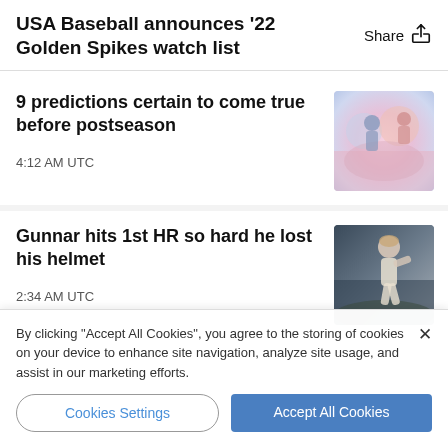USA Baseball announces '22 Golden Spikes watch list
Share
9 predictions certain to come true before postseason
4:12 AM UTC
[Figure (photo): Baseball players in colorful action photo]
Gunnar hits 1st HR so hard he lost his helmet
2:34 AM UTC
[Figure (photo): Baseball player running on field]
By clicking "Accept All Cookies", you agree to the storing of cookies on your device to enhance site navigation, analyze site usage, and assist in our marketing efforts.
Cookies Settings
Accept All Cookies